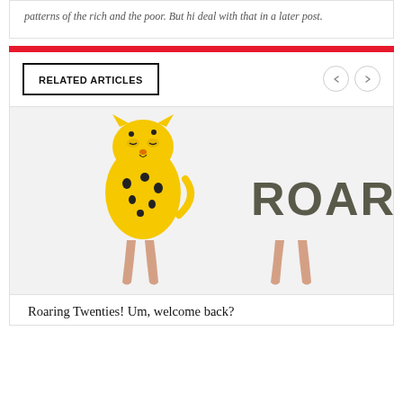patterns of the rich and the poor. But hi deal with that in a later post.
RELATED ARTICLES
[Figure (photo): Two hands holding up a yellow cartoon cheetah cutout and a sign reading ROAR against a white background.]
Roaring Twenties! Um, welcome back?